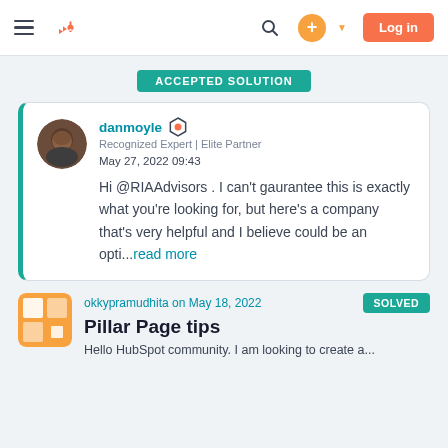HubSpot Community navigation bar with hamburger menu, logo, search, plus button, and Log in button
ACCEPTED SOLUTION
danmoyle
Recognized Expert | Elite Partner
May 27, 2022 09:43
Hi @RIAAdvisors . I can't gaurantee this is exactly what you're looking for, but here's a company that's very helpful and I believe could be an opti...read more
SOLVED
okkypramudhita on May 18, 2022
Pillar Page tips